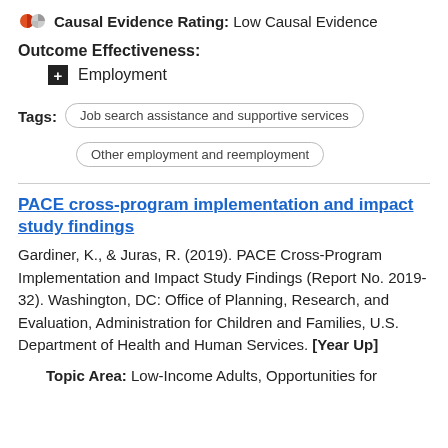Causal Evidence Rating: Low Causal Evidence
Outcome Effectiveness:
Employment
Tags: Job search assistance and supportive services; Other employment and reemployment
PACE cross-program implementation and impact study findings
Gardiner, K., & Juras, R. (2019). PACE Cross-Program Implementation and Impact Study Findings (Report No. 2019-32). Washington, DC: Office of Planning, Research, and Evaluation, Administration for Children and Families, U.S. Department of Health and Human Services. [Year Up]
Topic Area: Low-Income Adults, Opportunities for